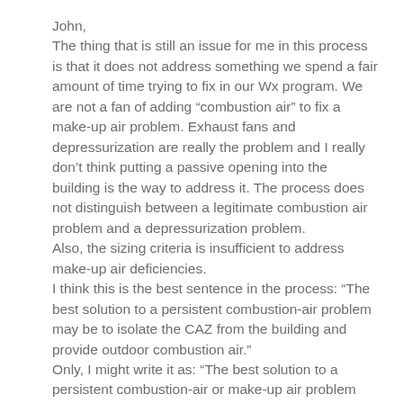John,
The thing that is still an issue for me in this process is that it does not address something we spend a fair amount of time trying to fix in our Wx program. We are not a fan of adding “combustion air” to fix a make-up air problem. Exhaust fans and depressurization are really the problem and I really don’t think putting a passive opening into the building is the way to address it. The process does not distinguish between a legitimate combustion air problem and a depressurization problem.
Also, the sizing criteria is insufficient to address make-up air deficiencies.
I think this is the best sentence in the process: “The best solution to a persistent combustion-air problem may be to isolate the CAZ from the building and provide outdoor combustion air.”
Only, I might write it as: “The best solution to a persistent combustion-air or make-up air problem may be to isolate the CAZ from the building and provide outdoor combustion air or to install direct